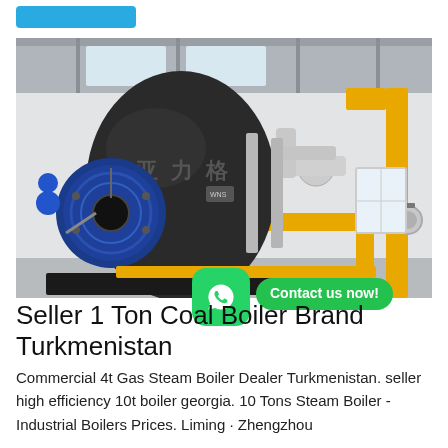[Figure (photo): Industrial boiler room with a large black cylindrical gas/steam boiler with Chinese characters, blue circular burner front, yellow gas pipes, and silver insulated pipes in a white-walled factory.]
Seller 1 Ton Coal Boiler Brand Turkmenistan
Commercial 4t Gas Steam Boiler Dealer Turkmenistan. seller high efficiency 10t boiler georgia. 10 Tons Steam Boiler - Industrial Boilers Prices. Liming · Zhengzhou